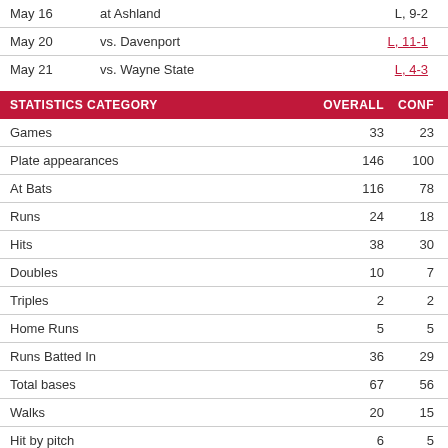| Date | Opponent | Result |
| --- | --- | --- |
| May 16 | at Ashland | L, 9-2 |
| May 20 | vs. Davenport | L, 11-1 |
| May 21 | vs. Wayne State | L, 4-3 |
| STATISTICS CATEGORY | OVERALL | CONF |
| --- | --- | --- |
| Games | 33 | 23 |
| Plate appearances | 146 | 100 |
| At Bats | 116 | 78 |
| Runs | 24 | 18 |
| Hits | 38 | 30 |
| Doubles | 10 | 7 |
| Triples | 2 | 2 |
| Home Runs | 5 | 5 |
| Runs Batted In | 36 | 29 |
| Total bases | 67 | 56 |
| Walks | 20 | 15 |
| Hit by pitch | 6 | 5 |
| Strikeouts | 26 | 16 |